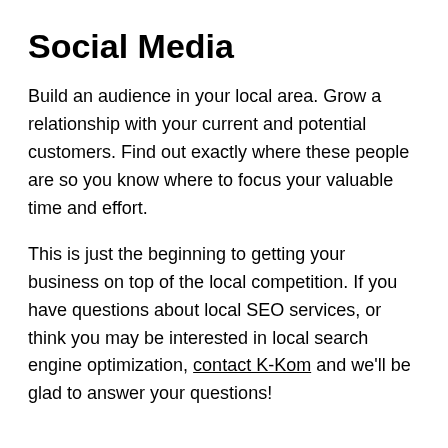Social Media
Build an audience in your local area. Grow a relationship with your current and potential customers. Find out exactly where these people are so you know where to focus your valuable time and effort.
This is just the beginning to getting your business on top of the local competition. If you have questions about local SEO services, or think you may be interested in local search engine optimization, contact K-Kom and we'll be glad to answer your questions!